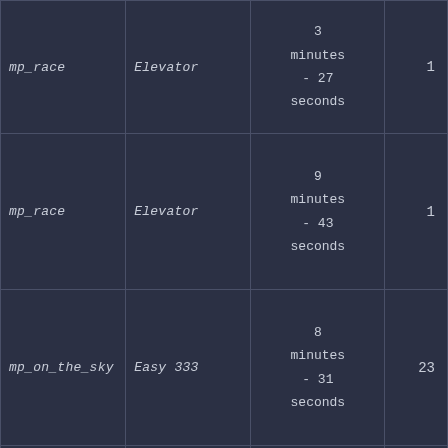| mp_race | Elevator | 3 minutes - 27 seconds | 1 |
| mp_race | Elevator | 9 minutes - 43 seconds | 1 |
| mp_on_the_sky | Easy 333 | 8 minutes - 31 seconds | 23 |
| mp_on_the_sky | Easy 125 | 20 minutes - 35 ... | 12 |